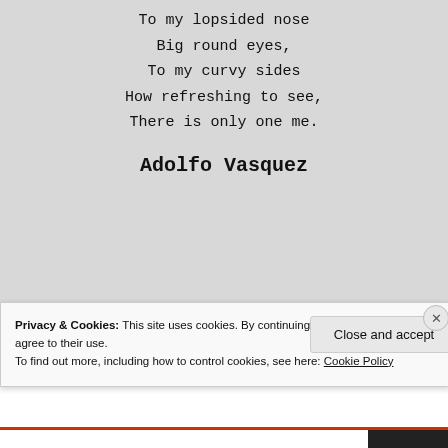To my lopsided nose
Big round eyes,
To my curvy sides
How refreshing to see,
There is only one me.
Adolfo Vasquez
Privacy & Cookies: This site uses cookies. By continuing to use this website, you agree to their use.
To find out more, including how to control cookies, see here: Cookie Policy
Close and accept